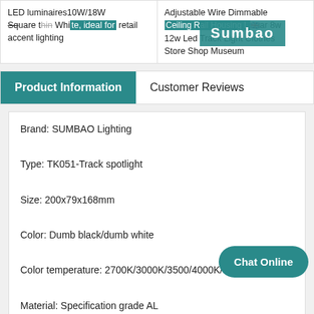LED luminaires10W/18W Square t... White, ideal for retail accent lighting
Adjustable Wire Dimmable Ceiling Rail Housing Linear 8w 12w Led Track Light Clothes Store Shop Museum
Product Information
Customer Reviews
Brand: SUMBAO Lighting
Type: TK051-Track spotlight
Size: 200x79x168mm
Color: Dumb black/dumb white
Color temperature: 2700K/3000K/3500/4000K/5000K
Material: Specification grade AL
Light source: Imported COP chip
Chat Online